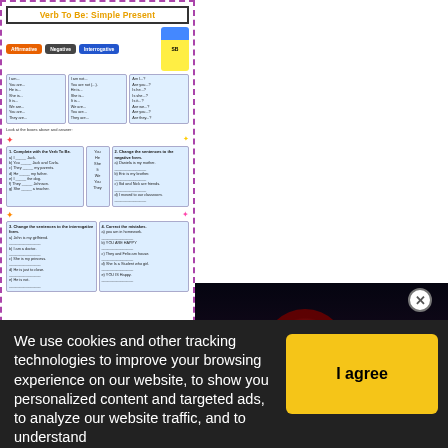[Figure (screenshot): Worksheet preview for 'Verb To Be: Simple Present' with Affirmative, Negative, Interrogative tabs, conjugation tables, exercises, and Spongebob cartoon character]
Worksheet: Verb To Be - Simple Present
Level: elementary
Age: 10-17
[Figure (screenshot): Video thumbnail showing a large pink/red moon against a dark sky with a silhouetted structure, with a play button overlay]
We use cookies and other tracking technologies to improve your browsing experience on our website, to show you personalized content and targeted ads, to analyze our website traffic, and to understand